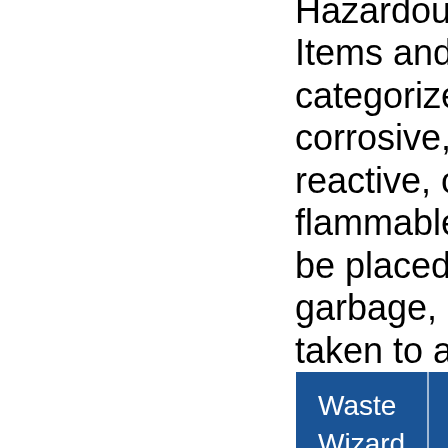Hazardous Waste. Items and materials categorized as corrosive, toxic, reactive, or flammable should not be placed in your garbage, but instead taken to a Household Hazardous Waste collection center. You can view disposal guidelines for various items here:
[Figure (screenshot): A dark blue UI widget/button showing 'Waste Wizard' on the left and '? Need help?' on the right, separated by a vertical divider line.]